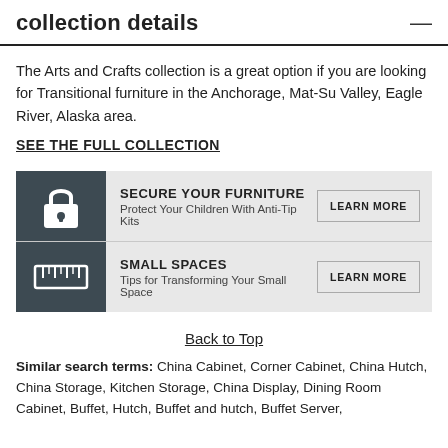collection details
The Arts and Crafts collection is a great option if you are looking for Transitional furniture in the Anchorage, Mat-Su Valley, Eagle River, Alaska area.
SEE THE FULL COLLECTION
[Figure (infographic): Two promotional banners on a gray background with dark icons. First: lock icon, 'SECURE YOUR FURNITURE', 'Protect Your Children With Anti-Tip Kits', 'LEARN MORE' button. Second: ruler/measurement icon, 'SMALL SPACES', 'Tips for Transforming Your Small Space', 'LEARN MORE' button.]
Back to Top
Similar search terms: China Cabinet, Corner Cabinet, China Hutch, China Storage, Kitchen Storage, China Display, Dining Room Cabinet, Buffet, Hutch, Buffet and hutch, Buffet Server,